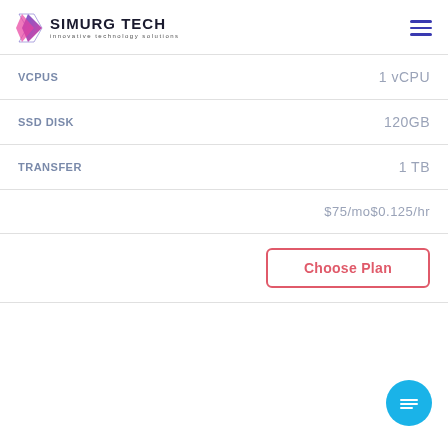SIMURG TECH innovative technology solutions
| Feature | Value |
| --- | --- |
| VCPUS | 1 vCPU |
| SSD DISK | 120GB |
| TRANSFER | 1 TB |
|  | $75/mo$0.125/hr |
|  | Choose Plan |